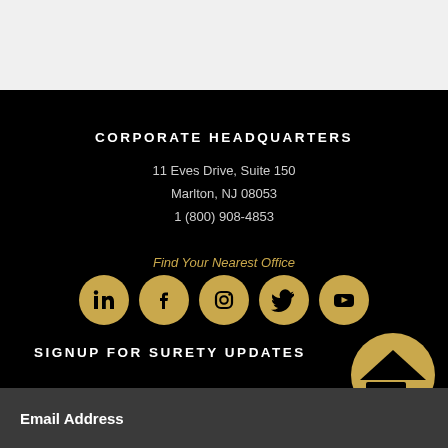CORPORATE HEADQUARTERS
11 Eves Drive, Suite 150
Marlton, NJ 08053
1 (800) 908-4853
Find Your Nearest Office
[Figure (infographic): Five gold circular social media icons: LinkedIn, Facebook, Instagram, Twitter, YouTube]
SIGNUP FOR SURETY UPDATES
Email Address
[Figure (logo): Gold circular badge with a house/home icon]